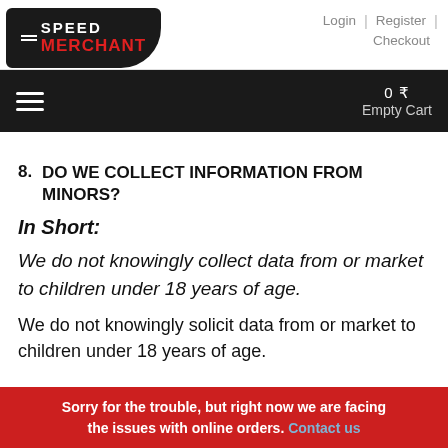Speed Merchant — Login | Register | Checkout
0 ₹ Empty Cart
8. DO WE COLLECT INFORMATION FROM MINORS?
In Short:
We do not knowingly collect data from or market to children under 18 years of age.
We do not knowingly solicit data from or market to children under 18 years of age.
Sorry for the trouble, but right now we are facing the issues with online orders. Contact us